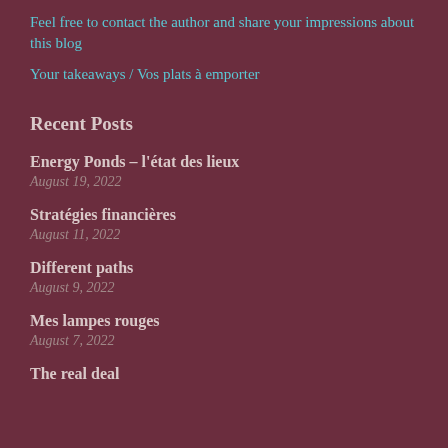Feel free to contact the author and share your impressions about this blog
Your takeaways / Vos plats à emporter
Recent Posts
Energy Ponds – l'état des lieux
August 19, 2022
Stratégies financières
August 11, 2022
Different paths
August 9, 2022
Mes lampes rouges
August 7, 2022
The real deal